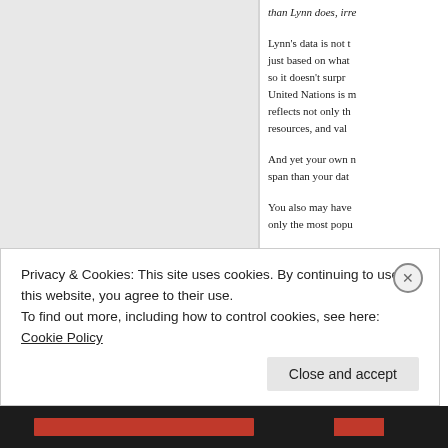than Lynn does, irre
Lynn's data is not t just based on what so it doesn't surpr United Nations is m reflects not only th resources, and val
And yet your own n span than your dat
You also may have only the most popu
And the IQ/educatio height/weight
Privacy & Cookies: This site uses cookies. By continuing to use this website, you agree to their use.
To find out more, including how to control cookies, see here: Cookie Policy
Close and accept